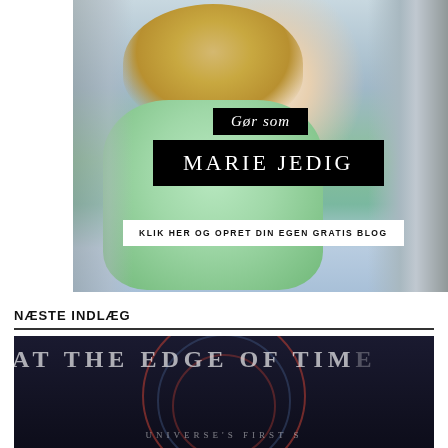[Figure (photo): Fashion advertisement photo of a blonde woman wearing a mint green knit sweater, with overlay text banners reading 'Gør som', 'MARIE JEDIG', and 'KLIK HER OG OPRET DIN EGEN GRATIS BLOG']
NÆSTE INDLÆG
[Figure (photo): Dark book or album cover image with text 'AT THE EDGE OF TIME' and 'UNIVERSE'S FIRST' visible, with circular arc design elements in red/pink on dark background]